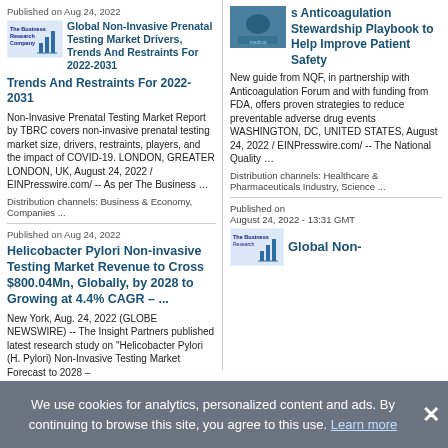Published on Aug 24, 2022
[Figure (logo): The Business Research Company logo with bar chart icon]
Global Non-Invasive Prenatal Testing Market Drivers, Trends And Restraints For 2022-2031
Non-Invasive Prenatal Testing Market Report by TBRC covers non-invasive prenatal testing market size, drivers, restraints, players, and the impact of COVID-19. LONDON, GREATER LONDON, UK, August 24, 2022 / EINPresswire.com/ -- As per The Business …
Distribution channels: Business & Economy, Companies ...
Published on Aug 24, 2022
Helicobacter Pylori Non-invasive Testing Market Revenue to Cross $800.04Mn, Globally, by 2028 to Growing at 4.4% CAGR – ...
New York, Aug. 24, 2022 (GLOBE NEWSWIRE) -- The Insight Partners published latest research study on "Helicobacter Pylori (H. Pylori) Non-Invasive Testing Market Forecast to 2028 –
[Figure (photo): Medical/healthcare image (blue toned)]
Anticoagulation Stewardship Playbook to Help Improve Patient Safety
New guide from NQF, in partnership with Anticoagulation Forum and with funding from FDA, offers proven strategies to reduce preventable adverse drug events WASHINGTON, DC, UNITED STATES, August 24, 2022 / EINPresswire.com/ -- The National Quality …
Distribution channels: Healthcare & Pharmaceuticals Industry, Science ...
Published on August 24, 2022 - 13:31 GMT
[Figure (logo): The Business Research Company logo with bar chart icon]
Global Non-
We use cookies for analytics, personalized content and ads. By continuing to browse this site, you agree to this use. Learn more